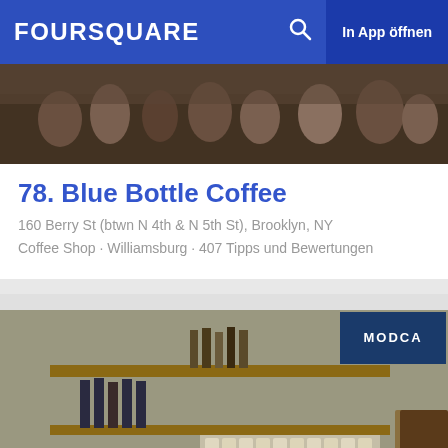FOURSQUARE   In App öffnen
[Figure (photo): Interior crowd photo of Blue Bottle Coffee]
78. Blue Bottle Coffee
160 Berry St (btwn N 4th & N 5th St), Brooklyn, NY
Coffee Shop · Williamsburg · 407 Tipps und Bewertungen
[Figure (photo): Interior bar/cafe counter photo of Modca with shelves of bottles and cups]
79. Modca
103 N 3rd St (btwn Berry & Wythe), Brooklyn, NY